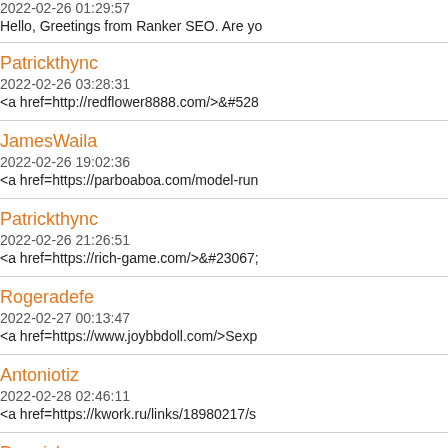2022-02-26 01:29:57
Hello, Greetings from Ranker SEO. Are yo
Patrickthync
2022-02-26 03:28:31
<a href=http://redflower8888.com/>&#528
JamesWaila
2022-02-26 19:02:36
<a href=https://parboaboa.com/model-run
Patrickthync
2022-02-26 21:26:51
<a href=https://rich-game.com/>&#23067;
Rogeradefe
2022-02-27 00:13:47
<a href=https://www.joybbdoll.com/>Sexp
Antoniotiz
2022-02-28 02:46:11
<a href=https://kwork.ru/links/18980217/s
Dennishem
2022-02-28 08:44:52
<a href=https://busandal119.com/>&#485